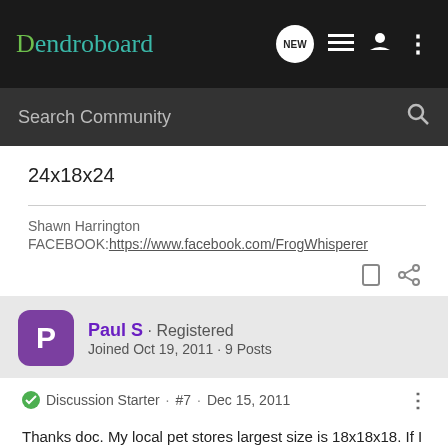Dendroboard
Search Community
24x18x24
Shawn Harrington
FACEBOOK: https://www.facebook.com/FrogWhisperer
Paul S · Registered
Joined Oct 19, 2011 · 9 Posts
Discussion Starter · #7 · Dec 15, 2011
Thanks doc. My local pet stores largest size is 18x18x18. If I bought that offline its like 30$+ more. And the size u mentioned